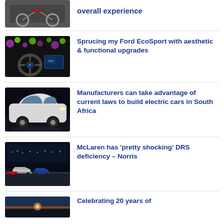[Figure (photo): Motorcycle on road, partially visible at top]
overall experience
[Figure (photo): Ford EcoSport interior dashboard with screen]
Sprucing my Ford EcoSport with aesthetic & functional upgrades
[Figure (photo): White electric SUV (Mercedes EQA) on dark background]
Manufacturers can take advantage of current laws to build electric cars in South Africa
[Figure (photo): Formula 1 cars racing on track at night]
McLaren has 'pretty shocking' DRS deficiency – Norris
[Figure (photo): Landscape at dusk, partially visible at bottom]
Celebrating 20 years of